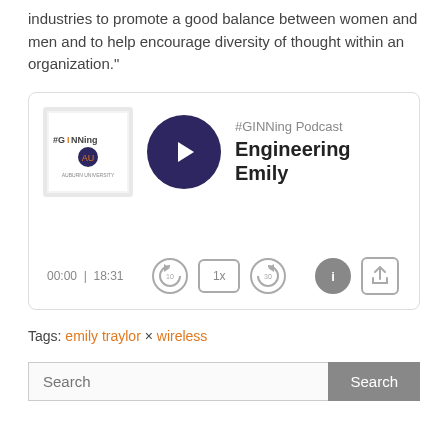industries to promote a good balance between women and men and to help encourage diversity of thought within an organization."
[Figure (screenshot): Podcast player card for #GINNing Podcast episode 'Engineering Emily'. Shows thumbnail image with #GINNing logo and Auburn University branding, a dark navy play button, episode title and label, time display 00:00 | 18:31, and playback controls including rewind 10s, speed 1x, forward 30s, info, and share buttons.]
Tags: emily traylor × wireless
Search